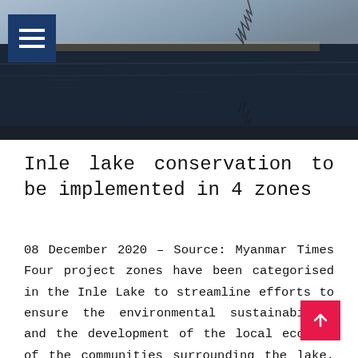[Figure (photo): Aerial or landscape photograph of Inle Lake with dark water and reflections, showing a bird or tree silhouette at top]
Inle lake conservation to be implemented in 4 zones
08 December 2020 – Source: Myanmar Times Four project zones have been categorised in the Inle Lake to streamline efforts to ensure the environmental sustainability and the development of the local economy of the communities surrounding the lake. Zone 1 includes Nyaungshwe township, Zone 2 includes K...